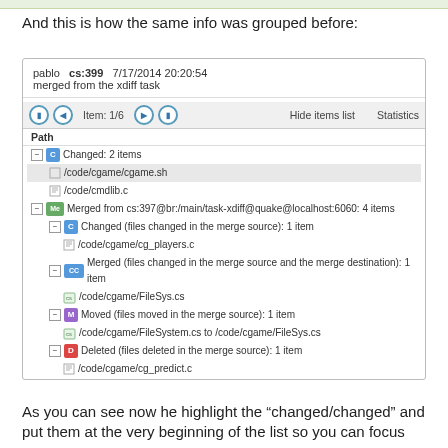And this is how the same info was grouped before:
[Figure (screenshot): Screenshot of a version control diff viewer showing a changeset. Commit: pablo cs:399 7/17/2014 20:20:54, merged from the xdiff task. Items list shows: Changed: 2 items (/code/cgame/cgame.sh, /code/cmdlib.c), Merged from cs:397@br:/main/task-xdiff@quake@localhost:6060: 4 items, with sub-items Changed (files changed in the merge source): 1 item (/code/cgame/cg_players.c), Merged (files changed in the merge source and the merge destination): 1 item (/code/cgame/FileSys.cs), Moved (files moved in the merge source): 1 item (/code/cgame/FileSystem.cs to /code/cgame/FileSys.cs), Deleted (files deleted in the merge source): 1 item (/code/cgame/cg_predict.c)]
As you can see now he highlight the “changed/changed” and put them at the very beginning of the list so you can focus